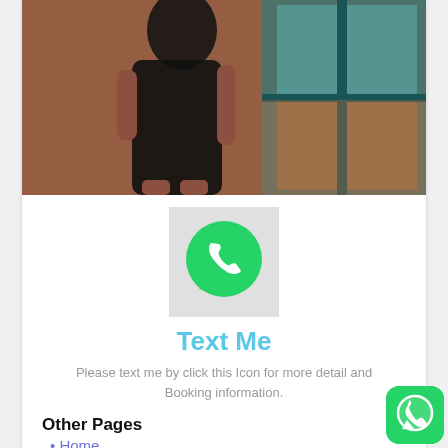[Figure (photo): Person in black dress standing by a teal-framed window with brick wall background, photo cropped to show torso and lower body]
[Figure (logo): WhatsApp logo icon — green circle with white phone handset inside a speech bubble, on a light grey background square]
Text Me
Please text me by click this Icon for more detail and Booking information.
Other Pages
Home
[Figure (logo): WhatsApp floating action button — green rounded square with white WhatsApp phone/speech bubble logo, bottom right corner]